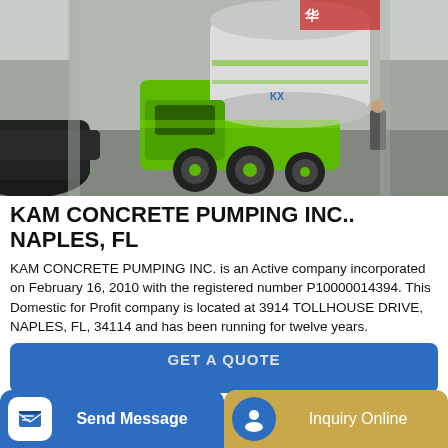[Figure (photo): A green and black self-loading concrete mixer truck displayed indoors in a large exhibition hall or showroom, with a black car visible on the left.]
KAM CONCRETE PUMPING INC.. NAPLES, FL
KAM CONCRETE PUMPING INC. is an Active company incorporated on February 16, 2010 with the registered number P10000014394. This Domestic for Profit company is located at 3914 TOLLHOUSE DRIVE, NAPLES, FL, 34114 and has been running for twelve years.
GET A QUOTE
Send Message
Inquiry Online